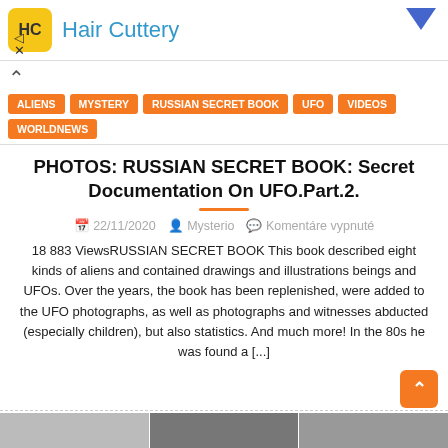[Figure (screenshot): Advertisement banner for Hair Cuttery with logo and navigation arrow]
ALIENS | MYSTERY | RUSSIAN SECRET BOOK | UFO | VIDEOS | WORLDNEWS
PHOTOS: RUSSIAN SECRET BOOK: Secret Documentation On UFO.Part.2.
22/11/2020  Mysterio  Komentáre vypnuté
18 883 ViewsRUSSIAN SECRET BOOK This book described eight kinds of aliens and contained drawings and illustrations beings and UFOs. Over the years, the book has been replenished, were added to the UFO photographs, as well as photographs and witnesses abducted (especially children), but also statistics. And much more! In the 80s he was found a [...]